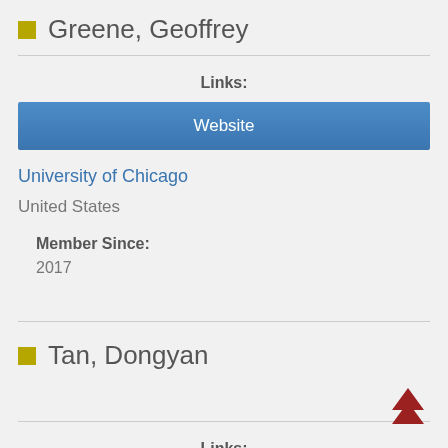Greene, Geoffrey
Links:
Website
University of Chicago
United States
Member Since:
2017
Tan, Dongyan
Links: